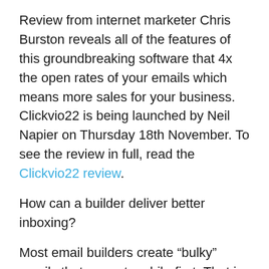Review from internet marketer Chris Burston reveals all of the features of this groundbreaking software that 4x the open rates of your emails which means more sales for your business. Clickvio22 is being launched by Neil Napier on Thursday 18th November. To see the review in full, read the Clickvio22 review.
How can a builder deliver better inboxing?
Most email builders create “bulky” emails that are not mobile-first. That is, they render awkwardly on different devices. And this rendering is also affected by what ESP they are landing in (gmail/hotmail/yahoo etc.)
Clickvio22 is based on the new form of email formatting – the latest version of MJML technology (you can read more about it here: https://mjml.io/faq) It was created by MailJet and then offered to the community as an open-source platform. We have utilized to help create clean, deliverable emails.